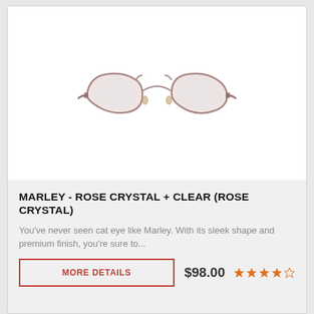[Figure (photo): Cat-eye style eyeglasses with rose crystal transparent frames, shown from the front against a white background. The frames are lightweight and semi-transparent pinkish-rose color with amber-tinted nose pads.]
MARLEY - ROSE CRYSTAL + CLEAR (ROSE CRYSTAL)
You've never seen cat eye like Marley. With its sleek shape and premium finish, you're sure to...
MORE DETAILS
$98.00